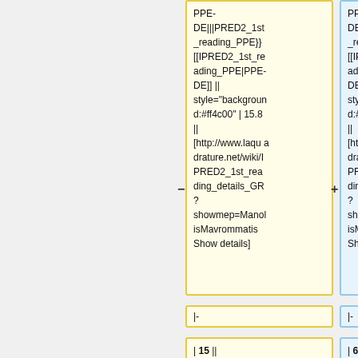PPE-DE|||PRED2_1st_reading_PPE}} [[IPRED2_1st_reading_PPE|PPE-DE]] || style="background:#ff4c00" | 15.8 || [http://www.laquadrature.net/wiki/IPRED2_1st_reading_details_GR? showmep=ManolisMavrommatis Show details]
PPE-DE|||PRED2_1st_reading_PPE}} [[IPRED2_1st_reading_PPE|PPE-DE]] || style="background:#ff4c00" | 15.8 || [http://www.laquadrature.net/wiki/IPRED2_1st_reading_details_GR? showmep=ManolisMavrommatis Show details]
|-
|-
| 15 || [[GeorgiosPapastamkos|GeorgiosPAPASTAMKOS]] || {{#icon:PPE.png|
| 628 || [[GeorgiosPapastamkos|GeorgiosPAPASTAMKOS]] || {{#icon:PPE.png|